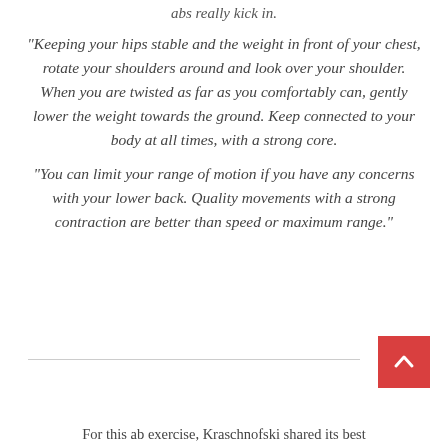abs really kick in.
“Keeping your hips stable and the weight in front of your chest, rotate your shoulders around and look over your shoulder. When you are twisted as far as you comfortably can, gently lower the weight towards the ground. Keep connected to your body at all times, with a strong core.
“You can limit your range of motion if you have any concerns with your lower back. Quality movements with a strong contraction are better than speed or maximum range.”
For this ab exercise, Kraschnofski shared its best